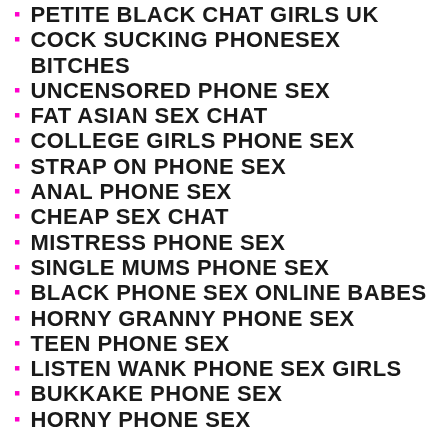PETITE BLACK CHAT GIRLS UK
COCK SUCKING PHONESEX BITCHES
UNCENSORED PHONE SEX
FAT ASIAN SEX CHAT
COLLEGE GIRLS PHONE SEX
STRAP ON PHONE SEX
ANAL PHONE SEX
CHEAP SEX CHAT
MISTRESS PHONE SEX
SINGLE MUMS PHONE SEX
BLACK PHONE SEX ONLINE BABES
HORNY GRANNY PHONE SEX
TEEN PHONE SEX
LISTEN WANK PHONE SEX GIRLS
BUKKAKE PHONE SEX
HORNY PHONE SEX